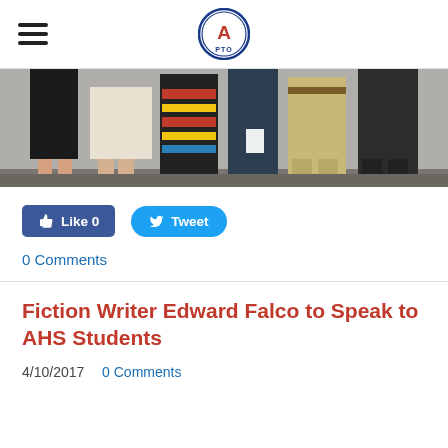AHS PTO (logo/navigation header)
[Figure (photo): Photo showing several people standing side by side from the waist down, wearing various outfits including skirts, colorful fabric, dress pants in khaki and dark colors.]
[Figure (infographic): Facebook Like button showing 'Like 0' and Twitter Tweet button]
0 Comments
Fiction Writer Edward Falco to Speak to AHS Students
4/10/2017  0 Comments